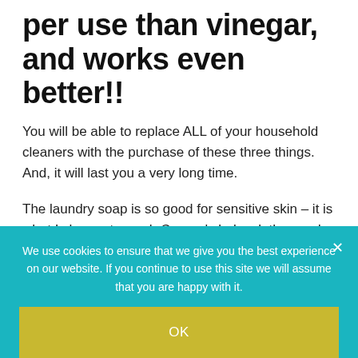per use than vinegar, and works even better!!
You will be able to replace ALL of your household cleaners with the purchase of these three things. And, it will last you a very long time.
The laundry soap is so good for sensitive skin – it is what I choose to wash Cougar's baby clothes and blankets!! My kids and I have super sensitive skin, like if I use the wrong lotion, my hands will be red and swollen
We use cookies to ensure that we give you the best experience on our website. If you continue to use this site we will assume that you are happy with it.
OK